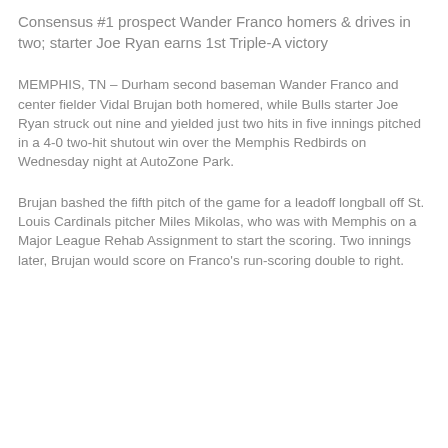Consensus #1 prospect Wander Franco homers & drives in two; starter Joe Ryan earns 1st Triple-A victory
MEMPHIS, TN – Durham second baseman Wander Franco and center fielder Vidal Brujan both homered, while Bulls starter Joe Ryan struck out nine and yielded just two hits in five innings pitched in a 4-0 two-hit shutout win over the Memphis Redbirds on Wednesday night at AutoZone Park.
Brujan bashed the fifth pitch of the game for a leadoff longball off St. Louis Cardinals pitcher Miles Mikolas, who was with Memphis on a Major League Rehab Assignment to start the scoring. Two innings later, Brujan would score on Franco's run-scoring double to right.